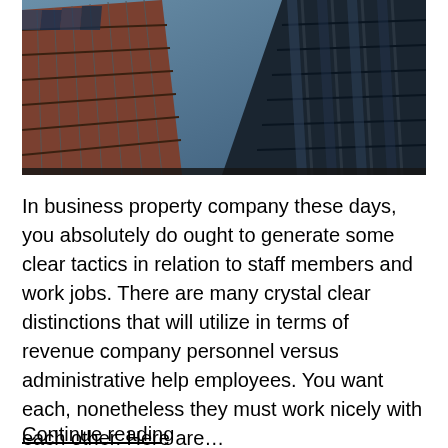[Figure (photo): Upward-looking architectural photo of glass and steel skyscraper buildings with dark reflective windows and reddish-brown cladding against a blue sky.]
In business property company these days, you absolutely do ought to generate some clear tactics in relation to staff members and work jobs. There are many crystal clear distinctions that will utilize in terms of revenue company personnel versus administrative help employees. You want each, nonetheless they must work nicely with each other. Here are…
Continue reading